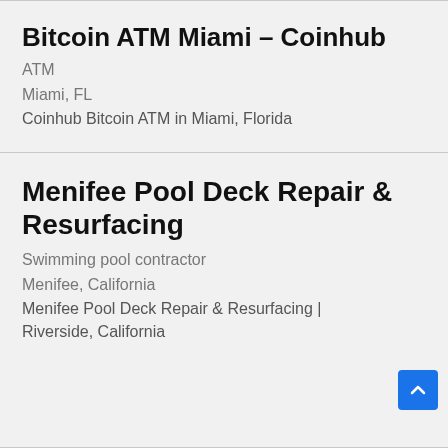Bitcoin ATM Miami – Coinhub
ATM
Miami, FL
Coinhub Bitcoin ATM in Miami, Florida
Menifee Pool Deck Repair & Resurfacing
Swimming pool contractor
Menifee, California
Menifee Pool Deck Repair & Resurfacing | Riverside, California